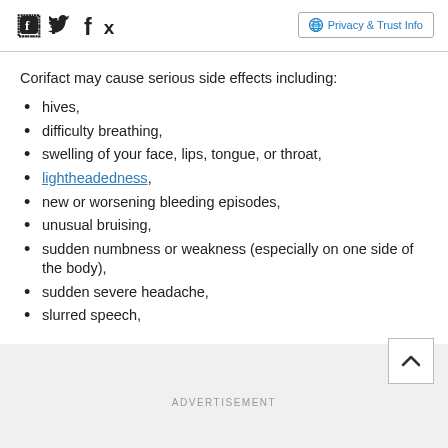Facebook Twitter Privacy & Trust Info
Corifact may cause serious side effects including:
hives,
difficulty breathing,
swelling of your face, lips, tongue, or throat,
lightheadedness,
new or worsening bleeding episodes,
unusual bruising,
sudden numbness or weakness (especially on one side of the body),
sudden severe headache,
slurred speech,
ADVERTISEMENT